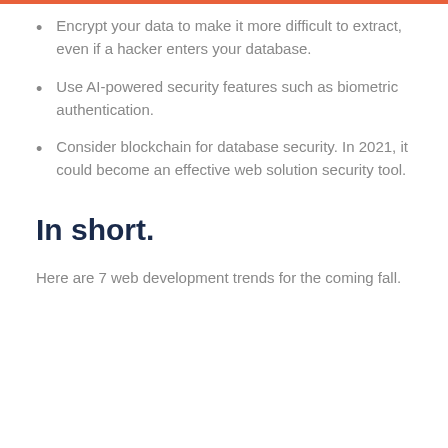Encrypt your data to make it more difficult to extract, even if a hacker enters your database.
Use AI-powered security features such as biometric authentication.
Consider blockchain for database security. In 2021, it could become an effective web solution security tool.
In short.
Here are 7 web development trends for the coming fall.